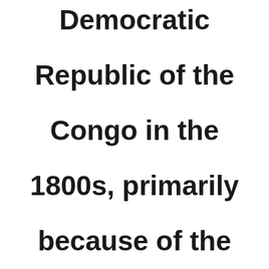Democratic Republic of the Congo in the 1800s, primarily because of the River Congo's x